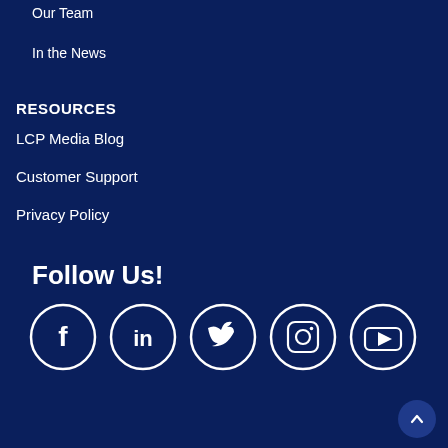Our Team
In the News
RESOURCES
LCP Media Blog
Customer Support
Privacy Policy
Follow Us!
[Figure (infographic): Row of 5 white-outlined circle icons on dark navy background: Facebook (f), LinkedIn (in), Twitter (bird), Instagram (camera), YouTube (play button)]